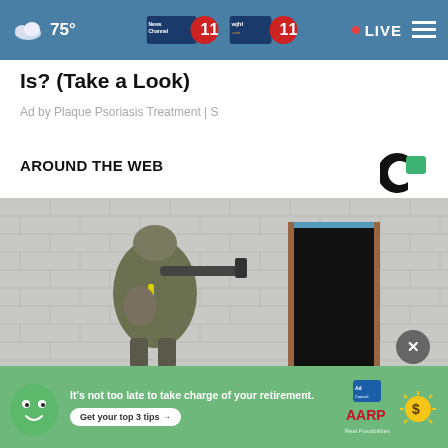75° · News Channel 11 · WJHL · LIVE
Is? (Take a Look)
Ad by Plaque Psoriasis Treatment | S
AROUND THE WEB
[Figure (photo): Soldier in camouflage gear with weapon pointing toward a doorway in a brick building]
[Figure (infographic): AARP Ad Council advertisement: It's not too late to take charge of your retirement. Get your top 3 tips. Green mascot character and sun coin icon.]